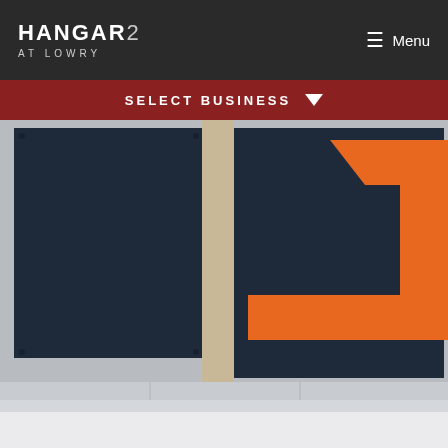HANGAR 2 AT LOWRY
Menu
SELECT BUSINESS
[Figure (photo): Exterior wall of Hangar 2 at Lowry building showing large dark navy blue panels with an orange angular geometric logo/arrow shape (resembling the letter Z or a boomerang) on the right side. Light brick/concrete visible between panels. Sidewalk in foreground.]